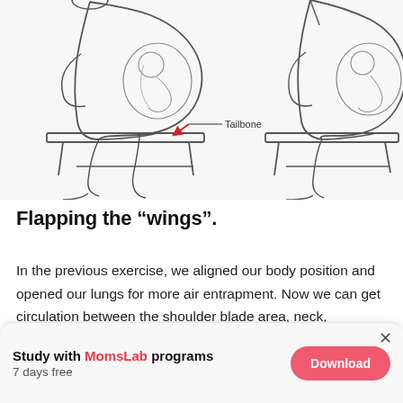[Figure (illustration): Two side-by-side medical illustrations of a seated pregnant person shown in cross-section profile. The left figure shows the person seated on a stool with a label 'Tailbone' and a red arrow pointing to the tailbone/coccyx area, with the fetus and internal organs visible. The right figure shows the same position from a slightly different angle without the label. Both drawings are pencil/ink style anatomical illustrations.]
Flapping the “wings”.
In the previous exercise, we aligned our body position and opened our lungs for more air entrapment. Now we can get circulation between the shoulder blade area, neck,
Study with MomsLab programs
7 days free